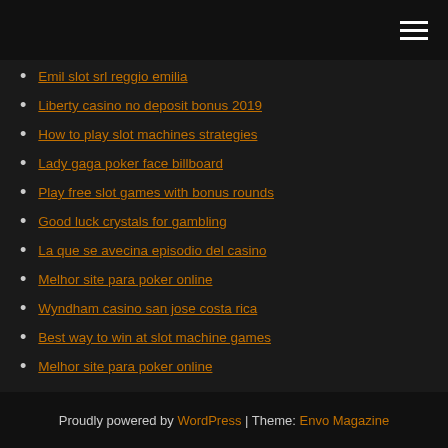[hamburger menu icon]
Emil slot srl reggio emilia
Liberty casino no deposit bonus 2019
How to play slot machines strategies
Lady gaga poker face billboard
Play free slot games with bonus rounds
Good luck crystals for gambling
La que se avecina episodio del casino
Melhor site para poker online
Wyndham casino san jose costa rica
Best way to win at slot machine games
Melhor site para poker online
Proudly powered by WordPress | Theme: Envo Magazine